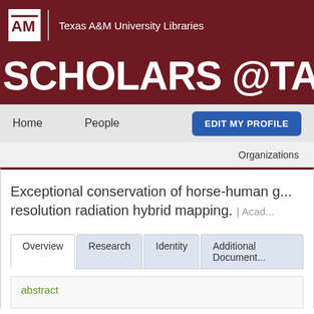Texas A&M University Libraries
SCHOLARS @TAMU
Home   People   EDIT MY PROFILE
Organizations   Research   About
Exceptional conservation of horse-human g... resolution radiation hybrid mapping. | Acad...
Overview   Research   Identity   Additional Document...
abstract